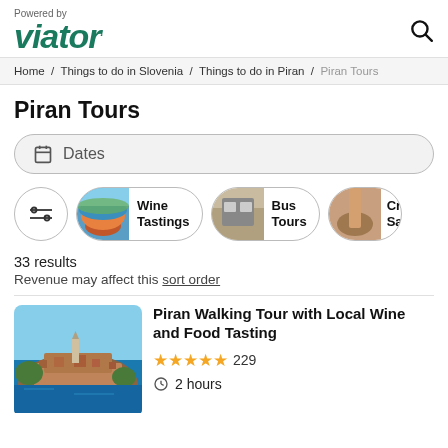Powered by viator
Home / Things to do in Slovenia / Things to do in Piran / Piran Tours
Piran Tours
Dates
[Figure (other): Category filter pills: Wine Tastings, Bus Tours, Cru Saili (partially visible)]
33 results
Revenue may affect this sort order
[Figure (photo): Aerial photo of Piran coastal town with red rooftops, church tower, and blue Adriatic Sea]
Piran Walking Tour with Local Wine and Food Tasting
229
2 hours